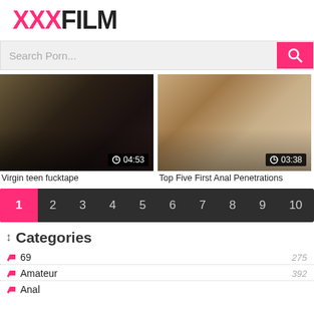XXXFILM
Search Porn...
[Figure (screenshot): Video thumbnail dark bedroom scene with duration 04:53]
Virgin teen fucktape
[Figure (screenshot): Video thumbnail close-up face scene with duration 03:38]
Top Five First Anal Penetrations
1 2 3 4 5 6 7 8 9 10
Categories
69   275
Amateur   392
Anal